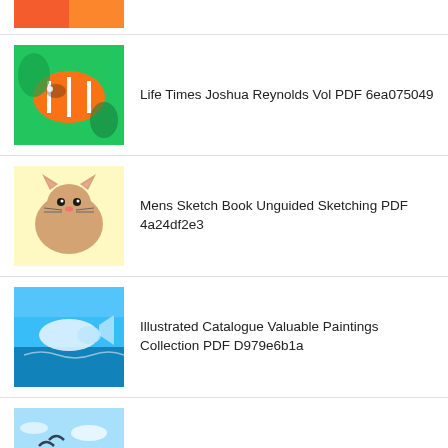(partial top item - image only)
Life Times Joshua Reynolds Vol PDF 6ea075049
Mens Sketch Book Unguided Sketching PDF 4a24df2e3
Illustrated Catalogue Valuable Paintings Collection PDF D979e6b1a
David Peter Wint Classic Reprint PDF Af016fb01
Essai Sur Portraitistes FranA7ais Renaissance PDF 6fdd59a2a
BoletADn Sociedad EspaB1ola Excursiones 1919 PDF 363c5a728